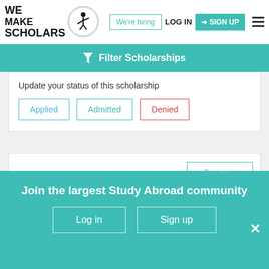[Figure (logo): We Make Scholars logo with acrobat figure in a circle]
We're hiring
LOG IN
SIGN UP
Filter Scholarships
Update your status of this scholarship
Applied
Admitted
Denied
[Figure (illustration): Indian national emblem (Ashoka pillar)]
Expires in
73 days
Merit Cum Means Scholarship For Professional And
Join the largest Study Abroad community
Log in
Sign up